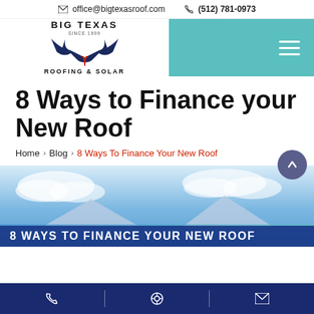office@bigtexasroof.com   (512) 781-0973
[Figure (logo): Big Texas Roofing & Solar logo with longhorn silhouette and Texas flag star]
8 Ways to Finance your New Roof
Home > Blog > 8 Ways To Finance Your New Roof
[Figure (photo): Hero image showing a house rooftop against blue sky with banner text '8 WAYS TO FINANCE YOUR NEW ROOF']